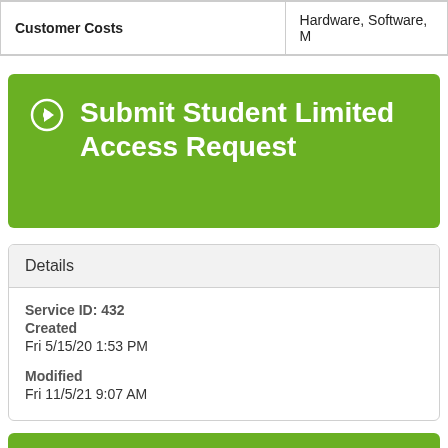| Customer Costs | Hardware, Software, M... |
| --- | --- |
Submit Student Limited Access Request
Details
Service ID: 432
Created
Fri 5/15/20 1:53 PM

Modified
Fri 11/5/21 9:07 AM